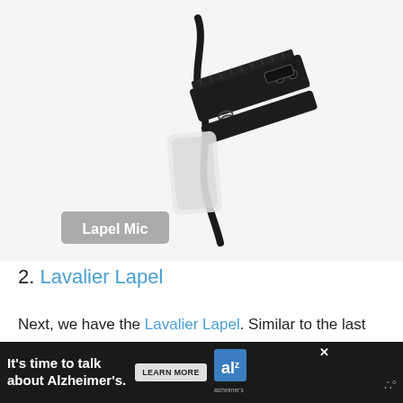[Figure (photo): Close-up photograph of a lapel microphone clip (black metal clip with spring mechanism). A white label overlay in the lower-left reads 'Lapel Mic'.]
2. Lavalier Lapel
Next, we have the Lavalier Lapel. Similar to the last choice, this one can pick up and record clear sound for your video and listeners. It comes with a shirt clip so that you can easily keep this close to
[Figure (other): Advertisement banner: dark background, text 'It's time to talk about Alzheimer's.' with a 'LEARN MORE' button and Alzheimer's Association logo. An X close button and small icon appear on the right.]